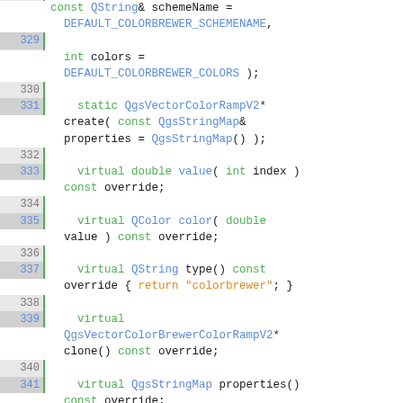[Figure (screenshot): Source code snippet (C++) showing lines 329-347 of a class definition involving QgsVectorColorBrewerColorRampV2, with line numbers on the left and syntax-highlighted code on the right.]